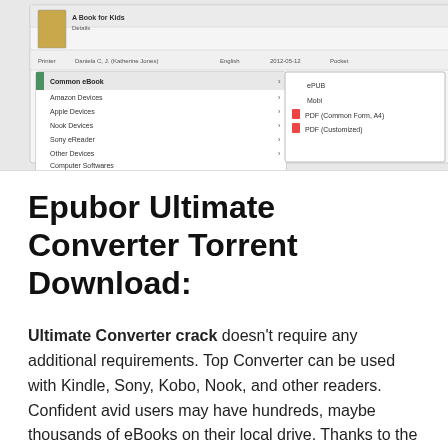[Figure (screenshot): Screenshot of Epubor Ultimate Converter software interface showing ebook conversion options including Common eBook, Amazon Devices, Apple Devices, Nook Devices, Sony eReader, Other Devices, Computer Softwares, Tablet Softwares, with submenu showing ePUB, Mobi, PDF (Common Form, A4), PDF (Customized) options. A large arrow points to the eReader device icon on the right. KEYGEN4PC.COM watermark visible.]
Epubor Ultimate Converter Torrent Download:
Ultimate Converter crack doesn't require any additional requirements. Top Converter can be used with Kindle, Sony, Kobo, Nook, and other readers. Confident avid users may have hundreds, maybe thousands of eBooks on their local drive. Thanks to the feature library search, every book can be identified instantly by a single word. You can find the book with just one word from the title author, publisher, author, or introduction.